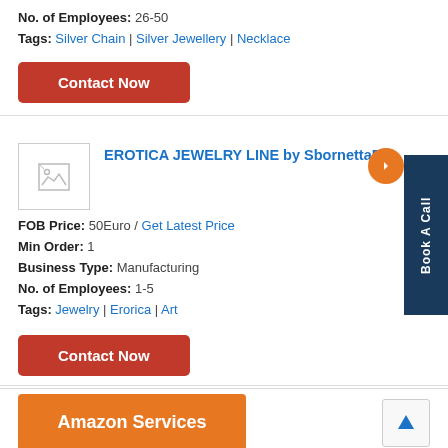No. of Employees: 26-50
Tags: Silver Chain | Silver Jewellery | Necklace
Contact Now
EROTICA JEWELRY LINE by SbornettaDJ
FOB Price: 50Euro / Get Latest Price
Min Order: 1
Business Type: Manufacturing
No. of Employees: 1-5
Tags: Jewelry | Erorica | Art
Contact Now
Amazon Services
Get Latest Price
Business Type: Exporters